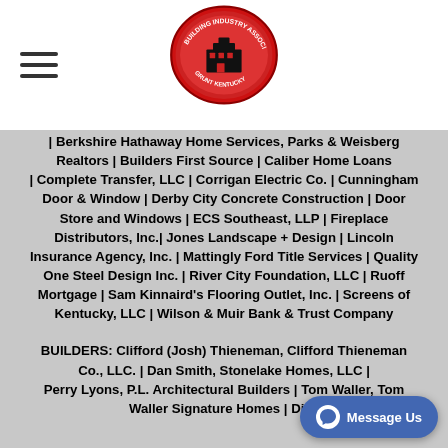Building Industry Association logo and navigation
| Berkshire Hathaway Home Services, Parks & Weisberg Realtors | Builders First Source | Caliber Home Loans | Complete Transfer, LLC | Corrigan Electric Co. | Cunningham Door & Window | Derby City Concrete Construction | Door Store and Windows | ECS Southeast, LLP | Fireplace Distributors, Inc.| Jones Landscape + Design | Lincoln Insurance Agency, Inc. | Mattingly Ford Title Services | Quality One Steel Design Inc. | River City Foundation, LLC | Ruoff Mortgage | Sam Kinnaird's Flooring Outlet, Inc. | Screens of Kentucky, LLC | Wilson & Muir Bank & Trust Company
BUILDERS: Clifford (Josh) Thieneman, Clifford Thieneman Co., LLC. | Dan Smith, Stonelake Homes, LLC | Perry Lyons, P.L. Architectural Builders | Tom Waller, Tom Waller Signature Homes | Dick